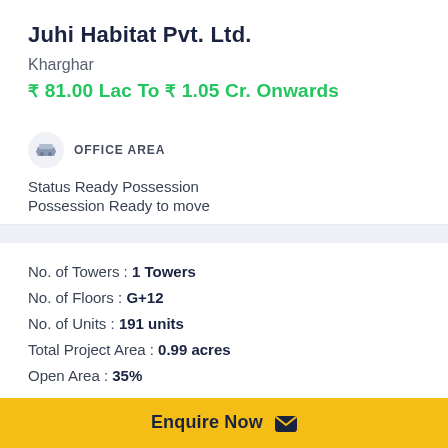Juhi Habitat Pvt. Ltd.
Kharghar
₹ 81.00 Lac To ₹ 1.05 Cr. Onwards
OFFICE AREA
Status Ready Possession
Possession Ready to move
No. of Towers : 1 Towers
No. of Floors : G+12
No. of Units : 191 units
Total Project Area : 0.99 acres
Open Area : 35%
Enquire Now